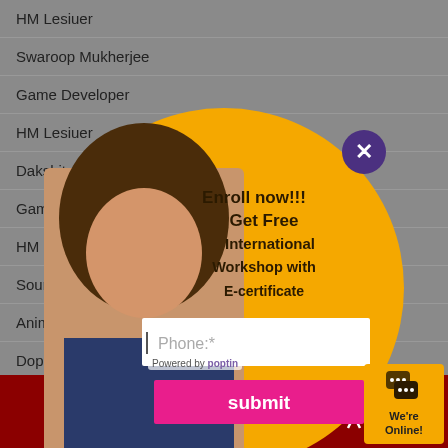HM Lesiuer
Swaroop Mukherjee
Game Developer
HM Lesiuer
Dakshit
Game D
HM Les
Sourabh
Animator
Dopamine
[Figure (infographic): Circular popup on orange/yellow background with a woman photo, text 'Enroll now!!! Get Free International Workshop with E-certificate', a phone input field, and a submit button]
Powered by poptin
[Figure (other): Dark red footer bar with VR headset icon, phone icon, WhatsApp icon, and location pin icon]
[Figure (other): Orange chat widget in bottom right corner with speech bubble icon and text We're Online!]